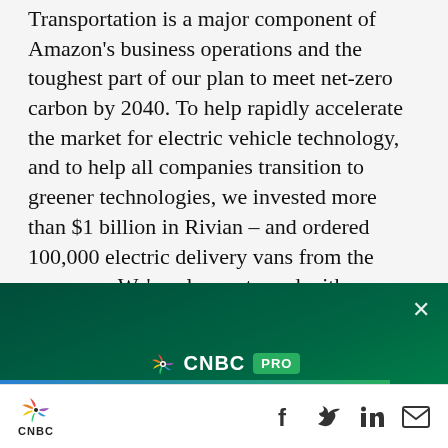Transportation is a major component of Amazon's business operations and the toughest part of our plan to meet net-zero carbon by 2040. To help rapidly accelerate the market for electric vehicle technology, and to help all companies transition to greener technologies, we invested more than $1 billion in Rivian – and ordered 100,000 electric delivery vans from the company. We've also partnered with Mahindra in India and Mercedes-
[Figure (infographic): CNBC PRO advertisement banner with green gradient background. Shows CNBC peacock logo, 'CNBC PRO' branding, tagline 'Get started today with our special offer and start hitting your financial goals.' and a 'SUBSCRIBE NOW' button. Has an X close button in top right corner.]
CNBC logo with social media icons: Facebook, Twitter, LinkedIn, Email